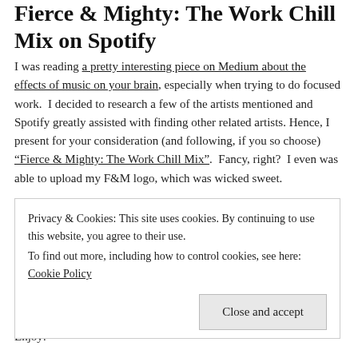Fierce & Mighty: The Work Chill Mix on Spotify
I was reading a pretty interesting piece on Medium about the effects of music on your brain, especially when trying to do focused work.  I decided to research a few of the artists mentioned and Spotify greatly assisted with finding other related artists. Hence, I present for your consideration (and following, if you so choose) “Fierce & Mighty: The Work Chill Mix”.  Fancy, right?  I even was able to upload my F&M logo, which was wicked sweet.
Open to suggestions if anyone has them, but give it a
Privacy & Cookies: This site uses cookies. By continuing to use this website, you agree to their use.
To find out more, including how to control cookies, see here: Cookie Policy
Enjoy: